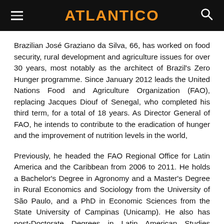ATLANTICO
Brazilian José Graziano da Silva, 66, has worked on food security, rural development and agriculture issues for over 30 years, most notably as the architect of Brazil's Zero Hunger programme. Since January 2012 leads the United Nations Food and Agriculture Organization (FAO), replacing Jacques Diouf of Senegal, who completed his third term, for a total of 18 years. As Director General of FAO, he intends to contribute to the eradication of hunger and the improvement of nutrition levels in the world,
Previously, he headed the FAO Regional Office for Latin America and the Caribbean from 2006 to 2011. He holds a Bachelor's Degree in Agronomy and a Master's Degree in Rural Economics and Sociology from the University of São Paulo, and a PhD in Economic Sciences from the State University of Campinas (Unicamp). He also has post-Doctorate Degrees in Latin American Studies (University College of London) and Environmental Studies (University of California, Santa Cruz).